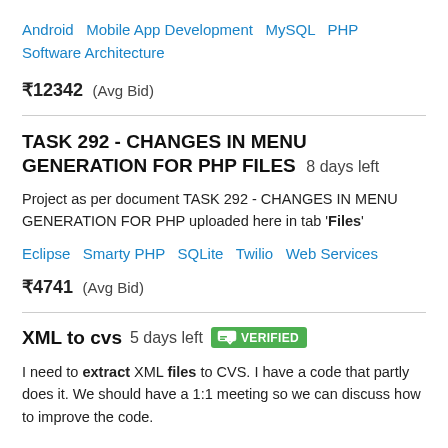Android   Mobile App Development   MySQL   PHP   Software Architecture
₹12342  (Avg Bid)
TASK 292 - CHANGES IN MENU GENERATION FOR PHP FILES  8 days left
Project as per document TASK 292 - CHANGES IN MENU GENERATION FOR PHP uploaded here in tab 'Files'
Eclipse   Smarty PHP   SQLite   Twilio   Web Services
₹4741  (Avg Bid)
XML to cvs  5 days left  VERIFIED
I need to extract XML files to CVS. I have a code that partly does it. We should have a 1:1 meeting so we can discuss how to improve the code.